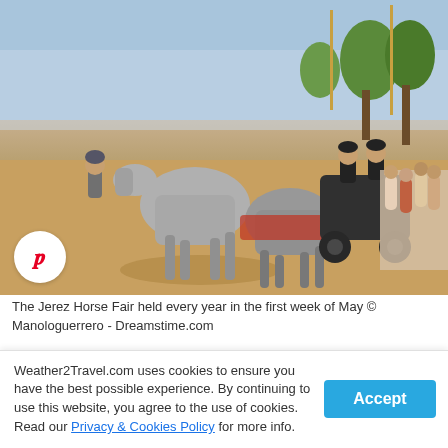[Figure (photo): The Jerez Horse Fair scene with grey horses pulling a carriage on a sandy path, riders in traditional dress, spectators on the right, trees and fairground lights in background]
The Jerez Horse Fair held every year in the first week of May © Manologuerrero - Dreamstime.com
Tasting time
The tour of González Byass is thorough, lasting two hours and ensuring you leave feeling like a real sherry
Weather2Travel.com uses cookies to ensure you have the best possible experience. By continuing to use this website, you agree to the use of cookies. Read our Privacy & Cookies Policy for more info.